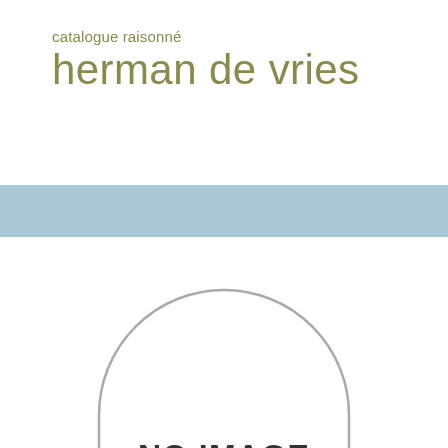catalogue raisonné
herman de vries
[Figure (illustration): A light blue horizontal banner/bar spanning the full width of the page]
[Figure (illustration): A large circle outline (placeholder image indicator) with the text 'NO IMAGE' inside, representing a missing image placeholder]